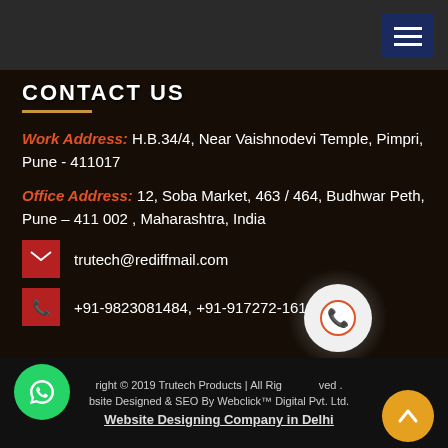CONTACT US
Work Address: H.B.34/4, Near Vaishnodevi Temple, Pimpri, Pune - 411017
Office Address: 12, Soba Market, 463 / 464, Budhwar Peth, Pune – 411 002 , Maharashtra, India
trutech@rediffmail.com
+91-9823081484, +91-917272-1616
Copyright © 2019 Trutech Products | All Rights Reserved . Website Designed & SEO By Webclick™ Digital Pvt. Ltd. Website Designing Company in Delhi